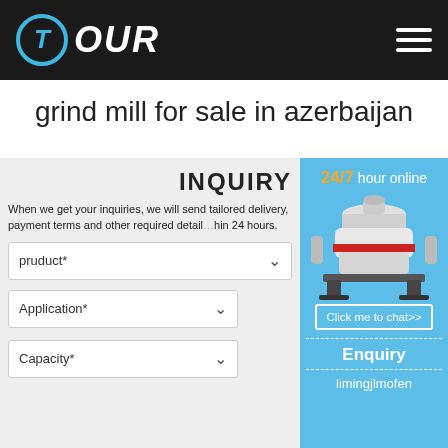TOUR [logo with hamburger menu]
grind mill for sale in azerbaijan
INQUIRY
When we get your inquiries, we will send tailored delivery, payment terms and other required detail within 24 hours.
pruduct*
Application*
Capacity*
[Figure (screenshot): Sidebar with 24/7 hour online label, cone crusher machine image, Click me to chat>> button, Enquiry section and limingjlmofen text]